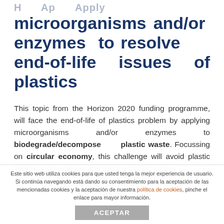Apply microorganisms and/or enzymes to resolve end-of-life issues of plastics
This topic from the Horizon 2020 funding programme, will face the end-of-life of plastics problem by applying microorganisms and/or enzymes to biodegrade/decompose plastic waste. Focussing on circular economy, this challenge will avoid plastic littering land and sea and reduce plastic waste
Este sitio web utiliza cookies para que usted tenga la mejor experiencia de usuario. Si continúa navegando está dando su consentimiento para la aceptación de las mencionadas cookies y la aceptación de nuestra política de cookies, pinche el enlace para mayor información.